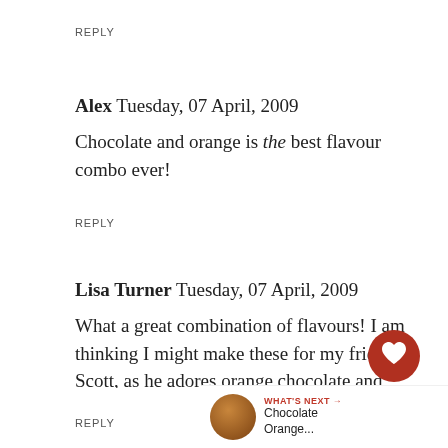REPLY
Alex Tuesday, 07 April, 2009
Chocolate and orange is the best flavour combo ever!
REPLY
Lisa Turner Tuesday, 07 April, 2009
What a great combination of flavours! I am thinking I might make these for my friend Scott, as he adores orange chocolate and would be sure to like these
REPLY
[Figure (infographic): Social share overlay with heart button (red circle with heart icon), share button, count '1', and a 'WHAT'S NEXT' panel showing 'Chocolate Orange...' with a chocolate orange image]
WHAT'S NEXT → Chocolate Orange...